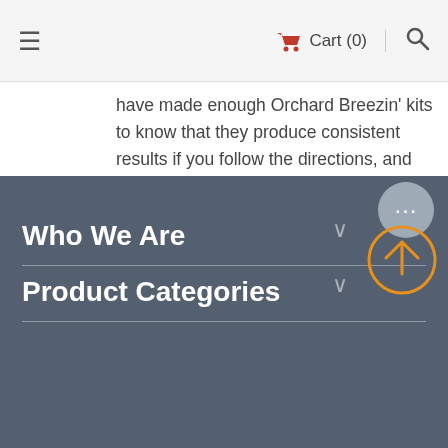≡   🛒 Cart (0)   🔍
have made enough Orchard Breezin' kits to know that they produce consistent results if you follow the directions, and we are happy that they handle our "tweaks" very well, too. We have made this kit a couple of times now and will keep doing so in order to keep it stocked in our cellar.
1   2   3   ›   »
Who We Are
Product Categories